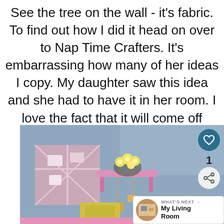See the tree on the wall - it's fabric. To find out how I did it head on over to Nap Time Crafters. It's embarrassing how many of her ideas I copy.  My daughter saw this idea and she had to have it in her room.  I love the fact that it will come off easily with a little water when she outgrows it and wants something new.
[Figure (photo): Photo of a child's room wall with a decorative fabric tree, a pink shelf with flowers, a corkboard with a diagonal grid pattern, and a yellow toy/music box below.]